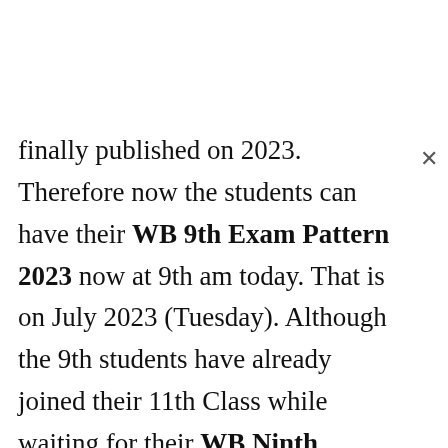finally published on 2023. Therefore now the students can have their WB 9th Exam Pattern 2023 now at 9th am today. That is on July 2023 (Tuesday). Although the 9th students have already joined their 11th Class while waiting for their WB Ninth Blueprint 2023. Finally the long wait is now over for the students and their parents. Hence, tomorrow the WB State Board of Sec. Education is now ready to roll out its 9th year end Blueprint for